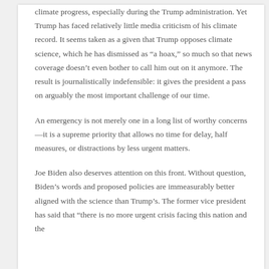climate progress, especially during the Trump administration. Yet Trump has faced relatively little media criticism of his climate record. It seems taken as a given that Trump opposes climate science, which he has dismissed as “a hoax,” so much so that news coverage doesn’t even bother to call him out on it anymore. The result is journalistically indefensible: it gives the president a pass on arguably the most important challenge of our time.
An emergency is not merely one in a long list of worthy concerns—it is a supreme priority that allows no time for delay, half measures, or distractions by less urgent matters.
Joe Biden also deserves attention on this front. Without question, Biden’s words and proposed policies are immeasurably better aligned with the science than Trump’s. The former vice president has said that “there is no more urgent crisis facing this nation and the